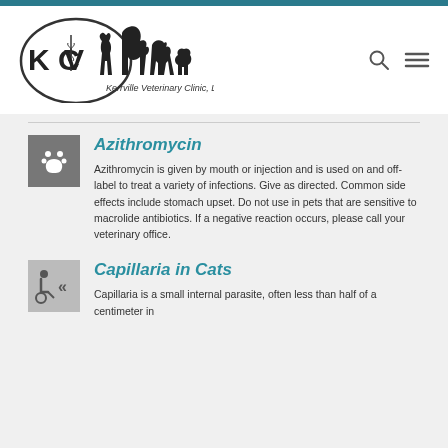[Figure (logo): Kerrville Veterinary Clinic logo with KVC initials and animal silhouettes]
Azithromycin
Azithromycin is given by mouth or injection and is used on and off-label to treat a variety of infections. Give as directed. Common side effects include stomach upset. Do not use in pets that are sensitive to macrolide antibiotics. If a negative reaction occurs, please call your veterinary office.
Capillaria in Cats
Capillaria is a small internal parasite, often less than half of a centimeter in